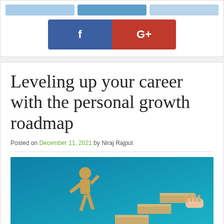[Figure (screenshot): Social media share buttons: light blue bars on top row, then Facebook (dark blue with 'f') and Google+ (red with 'G+') buttons]
Leveling up your career with the personal growth roadmap
Posted on December 11, 2021 by Niraj Rajput
[Figure (photo): Photo of a wooden cutout figure of a person walking up staircase steps made of wooden blocks, with a hand placing the top block, on a teal/blue background]